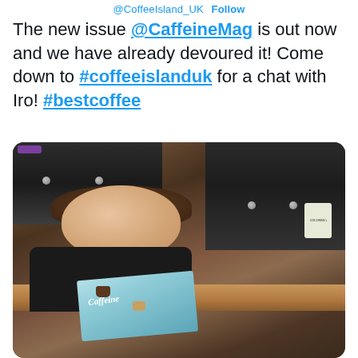@CoffeeIsland_UK  Follow
The new issue @CaffeineMag is out now and we have already devoured it! Come down to #coffeeislanduk for a chat with Iro! #bestcoffee
[Figure (photo): A smiling woman wearing a black shirt and green apron holds up a copy of Caffeine magazine inside a coffee shop surrounded by coffee grinders and bean dispensers.]